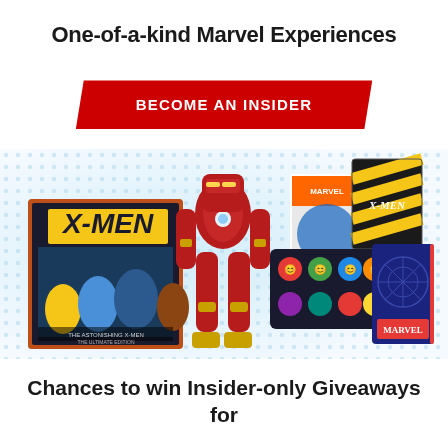One-of-a-kind Marvel Experiences
BECOME AN INSIDER
[Figure (photo): Collection of Marvel merchandise including X-Men book/case, Iron Man figurine, comic book covers, chibi character mousepad, and a Marvel notebook, arranged on a blue/white halftone dotted background.]
Chances to win Insider-only Giveaways for